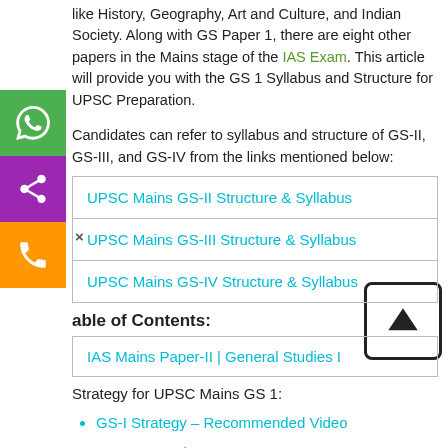like History, Geography, Art and Culture, and Indian Society. Along with GS Paper 1, there are eight other papers in the Mains stage of the IAS Exam. This article will provide you with the GS 1 Syllabus and Structure for UPSC Preparation.
Candidates can refer to syllabus and structure of GS-II, GS-III, and GS-IV from the links mentioned below:
UPSC Mains GS-II Structure & Syllabus
UPSC Mains GS-III Structure & Syllabus
UPSC Mains GS-IV Structure & Syllabus
Table of Contents:
IAS Mains Paper-II | General Studies I
Strategy for UPSC Mains GS 1:
GS-I Strategy – Recommended Video
Focus Areas in GS 1 Paper
How to approach Mains General Studies Paper 1